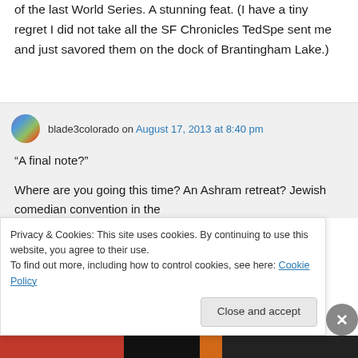of the last World Series. A stunning feat. (I have a tiny regret I did not take all the SF Chronicles TedSpe sent me and just savored them on the dock of Brantingham Lake.)
blade3colorado on August 17, 2013 at 8:40 pm
“A final note?”
Where are you going this time? An Ashram retreat? Jewish comedian convention in the...
Privacy & Cookies: This site uses cookies. By continuing to use this website, you agree to their use.
To find out more, including how to control cookies, see here: Cookie Policy
Close and accept